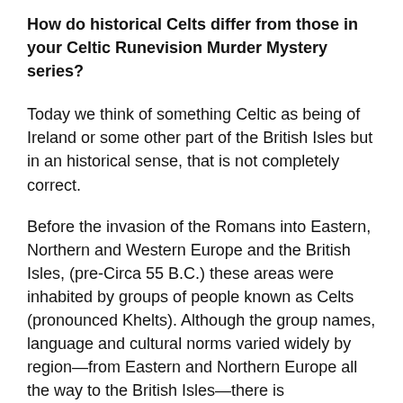How do historical Celts differ from those in your Celtic Runevision Murder Mystery series?
Today we think of something Celtic as being of Ireland or some other part of the British Isles but in an historical sense, that is not completely correct.
Before the invasion of the Romans into Eastern, Northern and Western Europe and the British Isles, (pre-Circa 55 B.C.) these areas were inhabited by groups of people known as Celts (pronounced Khelts). Although the group names, language and cultural norms varied widely by region—from Eastern and Northern Europe all the way to the British Isles—there is archaeological evidence these societies were connected by an impressive trade network which facilitated an exchange of varied cultural, social, and religious ideas. When the Romans spread into the